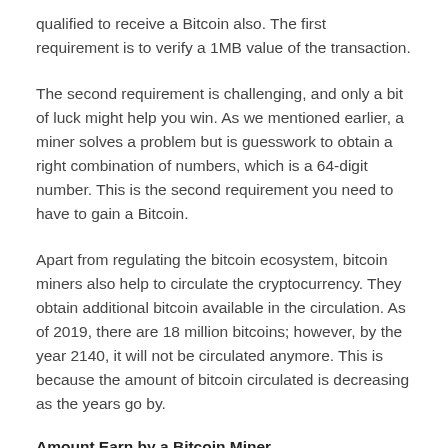qualified to receive a Bitcoin also. The first requirement is to verify a 1MB value of the transaction.
The second requirement is challenging, and only a bit of luck might help you win. As we mentioned earlier, a miner solves a problem but is guesswork to obtain a right combination of numbers, which is a 64-digit number. This is the second requirement you need to have to gain a Bitcoin.
Apart from regulating the bitcoin ecosystem, bitcoin miners also help to circulate the cryptocurrency. They obtain additional bitcoin available in the circulation. As of 2019, there are 18 million bitcoins; however, by the year 2140, it will not be circulated anymore. This is because the amount of bitcoin circulated is decreasing as the years go by.
Amount Earn by a Bitcoin Miner